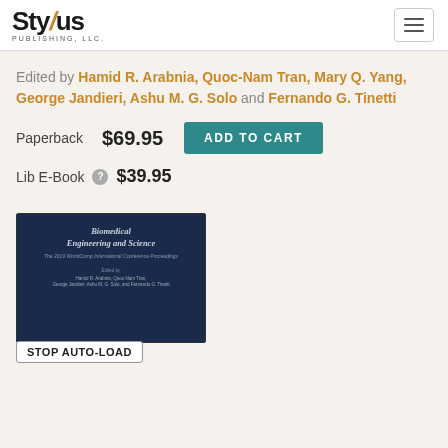[Figure (logo): Stylus Publishing LLC logo with stylized pen forming the letter Y]
Edited by Hamid R. Arabnia, Quoc-Nam Tran, Mary Q. Yang, George Jandieri, Ashu M. G. Solo and Fernando G. Tinetti
Paperback $69.95 ADD TO CART
Lib E-Book $39.95
[Figure (photo): Book cover of Biomedical Engineering and Science with dark navy background]
STOP AUTO-LOAD